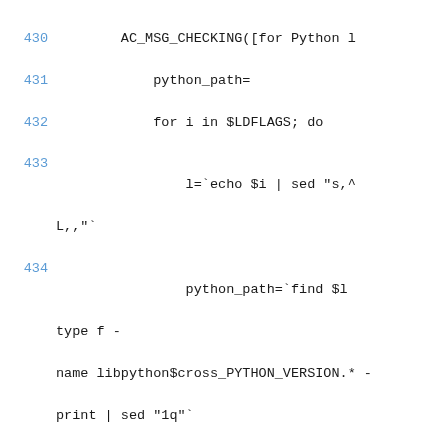Code listing showing shell script lines 430-440 with Python library path detection logic including AC_MSG_CHECKING, python_path, for loop over $LDFLAGS, sed commands, find command, if test, break, fi, done, and echo.